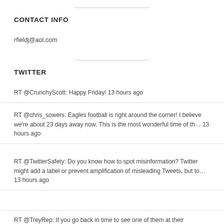CONTACT INFO
rfieldj@aol.com
TWITTER
RT @CrunchyScott: Happy Friday! 13 hours ago
RT @chris_sowers: Eagles football is right around the corner! I believe we're about 23 days away now. This is the most wonderful time of th… 13 hours ago
RT @TwitterSafety: Do you know how to spot misinformation? Twitter might add a label or prevent amplification of misleading Tweets, but to… 13 hours ago
RT @TreyRep: If you go back in time to see one of them at their